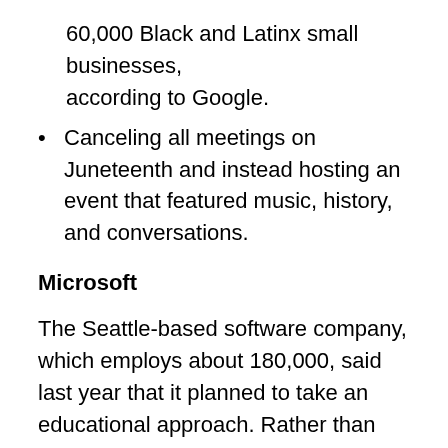60,000 Black and Latinx small businesses, according to Google.
Canceling all meetings on Juneteenth and instead hosting an event that featured music, history, and conversations.
Microsoft
The Seattle-based software company, which employs about 180,000, said last year that it planned to take an educational approach. Rather than offering a day off, Microsoft used the day as an opportunity for workers to learn about issues of race, inequity, and injustice.
Specifically, the company said it offered a week of